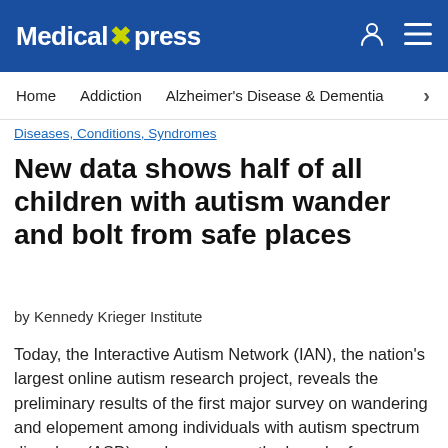Medical Xpress
Home   Addiction   Alzheimer's Disease & Dementia   >
Diseases, Conditions, Syndromes
New data shows half of all children with autism wander and bolt from safe places
by Kennedy Krieger Institute
Today, the Interactive Autism Network (IAN), the nation's largest online autism research project, reveals the preliminary results of the first major survey on wandering and elopement among individuals with autism spectrum disorders (ASD), and announces the launch of a new research survey on the association between pregnancy factors and ASD. The wandering and elopement survey found that approximately half of parents of children with